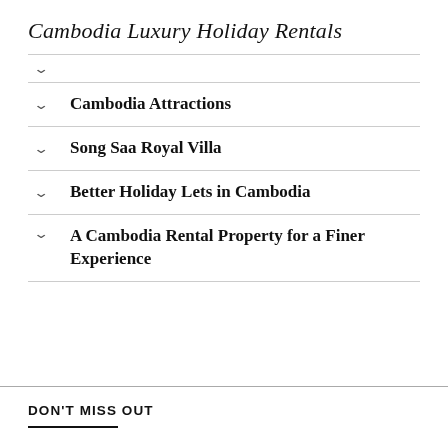Cambodia Luxury Holiday Rentals
Cambodia Attractions
Song Saa Royal Villa
Better Holiday Lets in Cambodia
A Cambodia Rental Property for a Finer Experience
DON'T MISS OUT